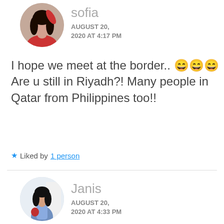[Figure (photo): Circular avatar photo of sofia, a woman in a red top with long dark hair]
sofia
AUGUST 20, 2020 AT 4:17 PM
I hope we meet at the border.. 😄😄😄 Are u still in Riyadh?! Many people in Qatar from Philippines too!!
★ Liked by 1 person
[Figure (photo): Circular avatar photo of Janis, a woman in a floral dress outdoors]
Janis
AUGUST 20, 2020 AT 4:33 PM